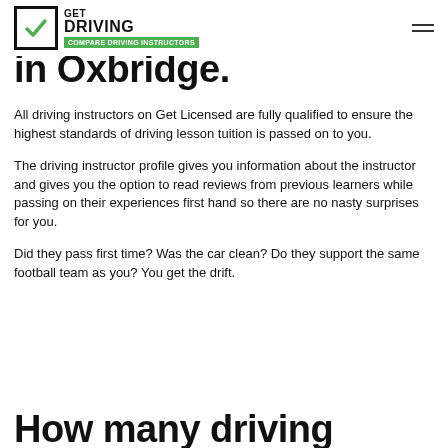GET DRIVING — COMPARE DRIVING INSTRUCTORS
in Oxbridge.
All driving instructors on Get Licensed are fully qualified to ensure the highest standards of driving lesson tuition is passed on to you.
The driving instructor profile gives you information about the instructor and gives you the option to read reviews from previous learners while passing on their experiences first hand so there are no nasty surprises for you.
Did they pass first time? Was the car clean? Do they support the same football team as you? You get the drift.
How many driving